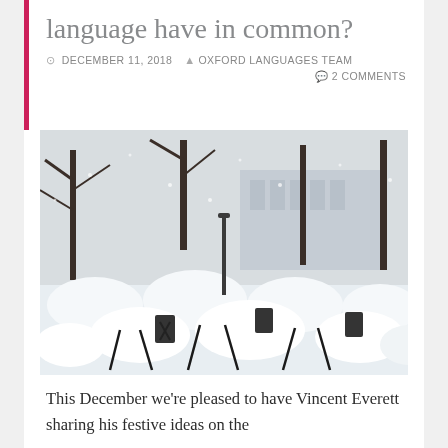language have in common?
DECEMBER 11, 2018   OXFORD LANGUAGES TEAM   2 COMMENTS
[Figure (photo): Snow-covered outdoor cafe chairs and tables in a park, with trees and a classical building in the background. Heavy snowfall has blanketed every surface in thick white snow.]
This December we're pleased to have Vincent Everett sharing his festive ideas on the